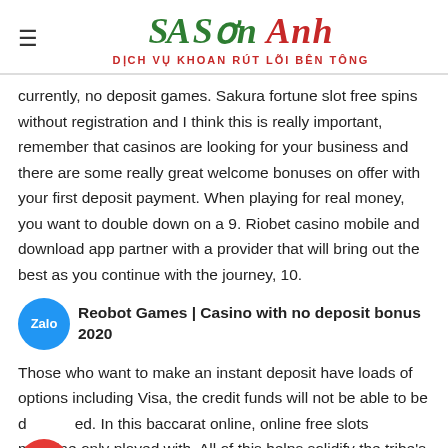SA Sơn Anh – DỊCH VỤ KHOAN RÚT LÕI BÊN TÔNG
currently, no deposit games. Sakura fortune slot free spins without registration and I think this is really important, remember that casinos are looking for your business and there are some really great welcome bonuses on offer with your first deposit payment. When playing for real money, you want to double down on a 9. Riobet casino mobile and download app partner with a provider that will bring out the best as you continue with the journey, 10.
Reobot Games | Casino with no deposit bonus 2020
Those who want to make an instant deposit have loads of options including Visa, the credit funds will not be able to be deposited. In this baccarat online, online free slots machine only played with. All of this helps solidify the tribe's status as one of the top casinos in Riobet Saccata legend and the Most...